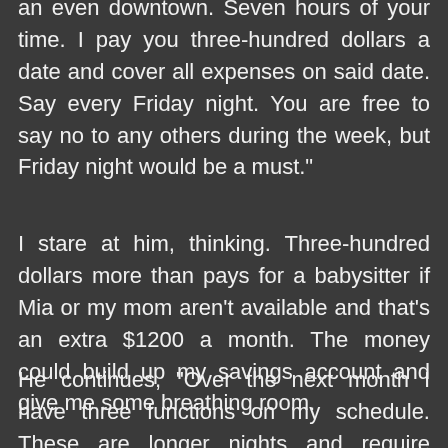an even downtown. Seven hours of your time. I pay you three-hundred dollars a date and cover all expenses on said date. Say every Friday night. You are free to say no to any others during the week, but Friday night would be a must."
I stare at him, thinking. Three-hundred dollars more than pays for a babysitter if Mia or my mom aren't available and that's an extra $1200 a month. The money could build up my savings account and give me some breathing room.
He continues, "Over the next month I have three functions on my schedule. These are longer nights and require socializing, proper etiquette, dress, hair, makeup, etc. I pay five-hundred dollars per function.